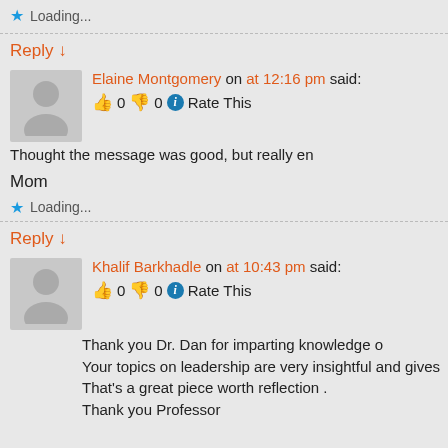Loading...
Reply ↓
Elaine Montgomery on at 12:16 pm said: 👍 0 👎 0 ℹ Rate This
Thought the message was good, but really en
Mom
Loading...
Reply ↓
Khalif Barkhadle on at 10:43 pm said: 👍 0 👎 0 ℹ Rate This
Thank you Dr. Dan for imparting knowledge o Your topics on leadership are very insightful and gives That's a great piece worth reflection . Thank you Professor